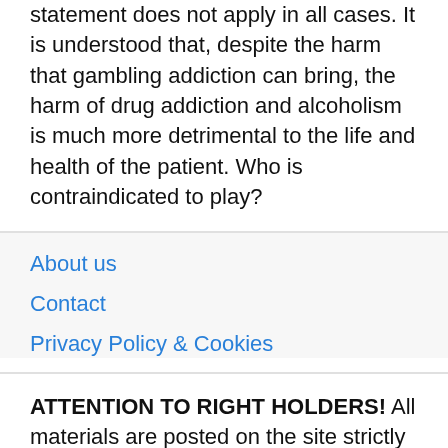statement does not apply in all cases. It is understood that, despite the harm that gambling addiction can bring, the harm of drug addiction and alcoholism is much more detrimental to the life and health of the patient. Who is contraindicated to play?
About us
Contact
Privacy Policy & Cookies
ATTENTION TO RIGHT HOLDERS! All materials are posted on the site strictly for informational and educational purposes! If you believe that the posting of any material